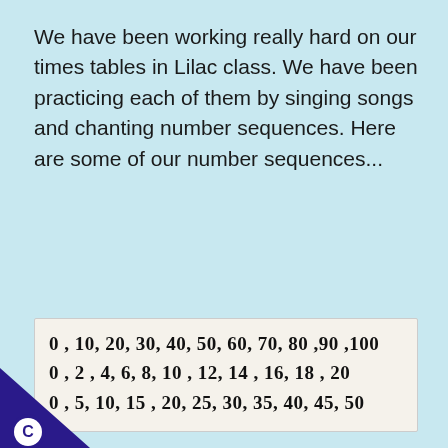We have been working really hard on our times tables in Lilac class. We have been practicing each of them by singing songs and chanting number sequences. Here are some of our number sequences...
[Figure (photo): A handwritten sheet of paper showing three number sequences: '0, 10, 20, 30, 40, 50, 60, 70, 80, 90, 100' and '0, 2, 4, 6, 8, 10, 12, 14, 16, 18, 20' and '0, 5, 10, 15, 20, 25, 30, 35, 40, 45, 50']